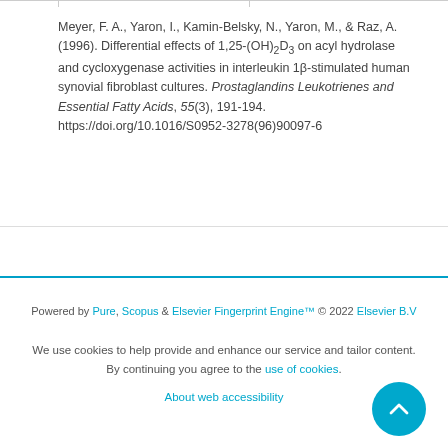Meyer, F. A., Yaron, I., Kamin-Belsky, N., Yaron, M., & Raz, A. (1996). Differential effects of 1,25-(OH)₂D₃ on acyl hydrolase and cycloxygenase activities in interleukin 1β-stimulated human synovial fibroblast cultures. Prostaglandins Leukotrienes and Essential Fatty Acids, 55(3), 191-194. https://doi.org/10.1016/S0952-3278(96)90097-6
Powered by Pure, Scopus & Elsevier Fingerprint Engine™ © 2022 Elsevier B.V
We use cookies to help provide and enhance our service and tailor content. By continuing you agree to the use of cookies
About web accessibility